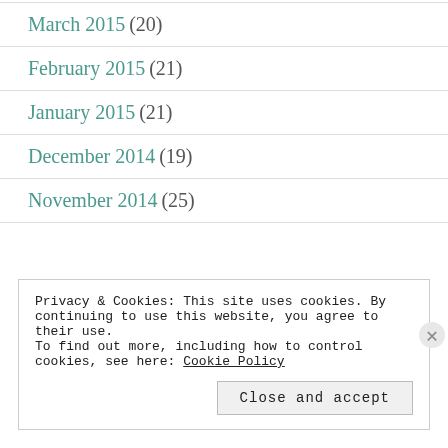March 2015 (20)
February 2015 (21)
January 2015 (21)
December 2014 (19)
November 2014 (25)
Privacy & Cookies: This site uses cookies. By continuing to use this website, you agree to their use.
To find out more, including how to control cookies, see here: Cookie Policy
Close and accept